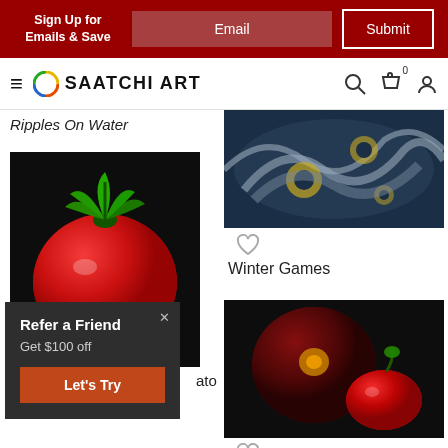Sign Up for Emails & Save | Email | Submit
[Figure (screenshot): Saatchi Art website navigation bar with hamburger menu, circular logo, SAATCHI ART text, search icon, cart icon, and user icon]
Ripples On Water
[Figure (photo): Abstract painting showing rippling water with bluish-gray tones, swirling patterns, and gold circular elements - 'Ripples On Water' artwork]
[Figure (photo): Painting of a red tomato on black background with green stem - tomato artwork on Saatchi Art]
Winter Games
[Figure (photo): Painting of a dark red onion and red pepper on black background - artwork on Saatchi Art]
...ato
[Figure (infographic): Popup overlay with dark gray background: 'Refer a Friend', 'Get $100 off', and 'Let's Try' button in orange]